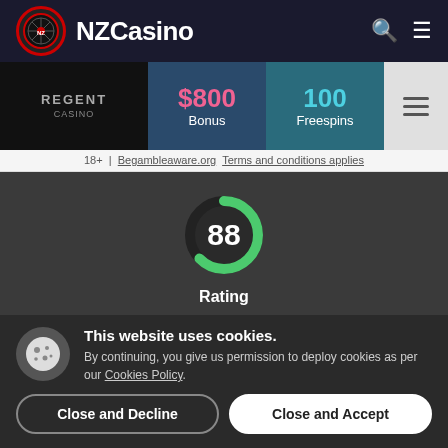NZCasino
[Figure (infographic): Casino promo bar with Regent Casino logo, $800 Bonus, 100 Freespins, and Visit button]
18+ | Begambleaware.org Terms and conditions applies
[Figure (infographic): Rating donut chart showing score of 88 with label Rating]
This website uses cookies. By continuing, you give us permission to deploy cookies as per our Cookies Policy.
Close and Decline
Close and Accept